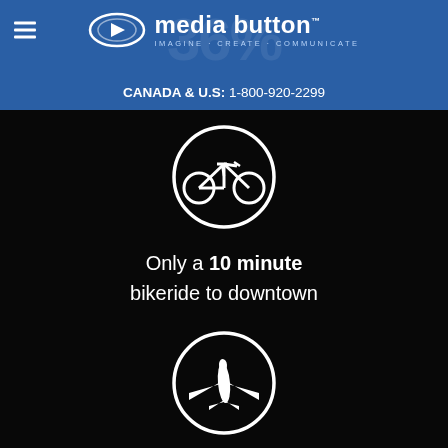media button — IMAGINE · CREATE · COMMUNICATE — CANADA & U.S: 1-800-920-2299
[Figure (illustration): White bicycle icon inside a white circle outline on black background]
Only a 10 minute bikeride to downtown
[Figure (illustration): White airplane icon inside a white circle outline on black background]
Less than 20 minutes to Vancouver